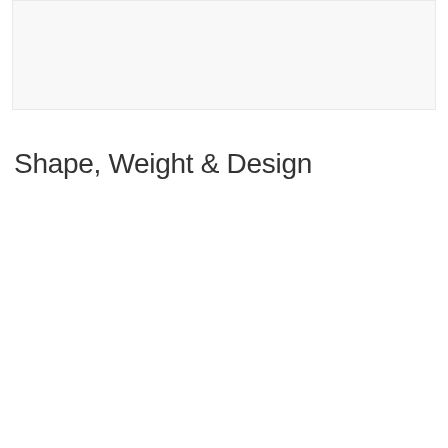[Figure (other): Light gray rectangular image placeholder area at the top of the page]
Shape, Weight & Design